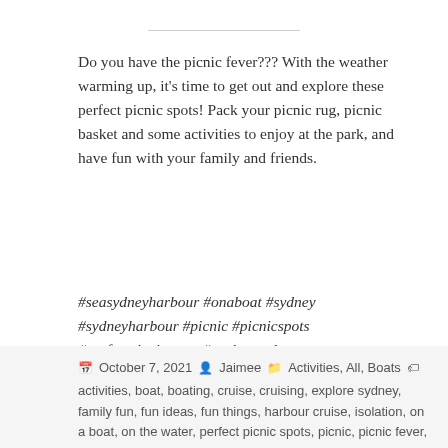Do you have the picnic fever??? With the weather warming up, it's time to get out and explore these perfect picnic spots! Pack your picnic rug, picnic basket and some activities to enjoy at the park, and have fun with your family and friends.
#seasydneyharbour #onaboat #sydney #sydneyharbour #picnic #picnicspots #perfectpicnicspots #exploresydney #allthingsnautical
October 7, 2021  Jaimee  Activities, All, Boats  activities, boat, boating, cruise, cruising, explore sydney, family fun, fun ideas, fun things, harbour cruise, isolation, on a boat, on the water, perfect picnic spots, picnic, picnic fever, picnic spots, sea sydney harbour, sydney, sydney harbour, things to do